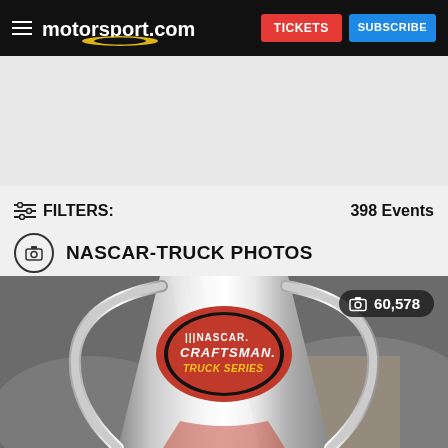motorsport.com — TICKETS  SUBSCRIBE
FILTERS:   398 Events
NASCAR-TRUCK PHOTOS
[Figure (photo): Chrome NASCAR Craftsman Truck Series trophy against a blurred background, with a photo count badge showing 60,578]